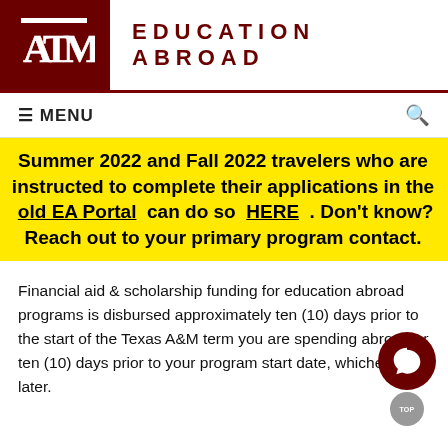EDUCATION ABROAD
≡ MENU
Summer 2022 and Fall 2022 travelers who are instructed to complete their applications in the old EA Portal can do so HERE . Don't know? Reach out to your primary program contact.
Financial aid & scholarship funding for education abroad programs is disbursed approximately ten (10) days prior to the start of the Texas A&M term you are spending abroad or ten (10) days prior to your program start date, whichever is later.